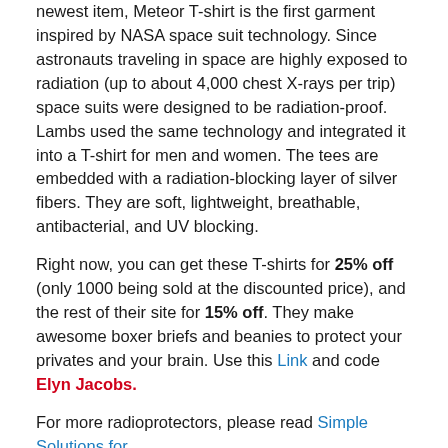newest item, Meteor T-shirt is the first garment inspired by NASA space suit technology. Since astronauts traveling in space are highly exposed to radiation (up to about 4,000 chest X-rays per trip) space suits were designed to be radiation-proof. Lambs used the same technology and integrated it into a T-shirt for men and women. The tees are embedded with a radiation-blocking layer of silver fibers. They are soft, lightweight, breathable, antibacterial, and UV blocking.
Right now, you can get these T-shirts for 25% off (only 1000 being sold at the discounted price), and the rest of their site for 15% off. They make awesome boxer briefs and beanies to protect your privates and your brain. Use this Link and code Elyn Jacobs.
For more radioprotectors, please read Simple Solutions for